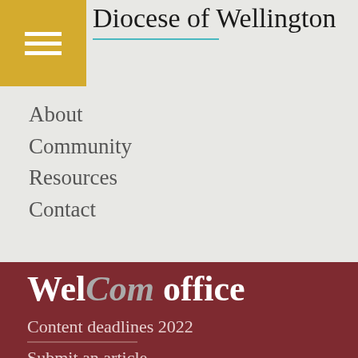Diocese of Wellington
About
Community
Resources
Contact
WelCom office
Content deadlines 2022
Submit an article
Advertising
Catholic Centre 22-30 Hill Street, PO Box 1937, Wellington 6140
Editor: Annette Scullion
Ph: 04 496 1712
welcom@wn.catholic.org.nz